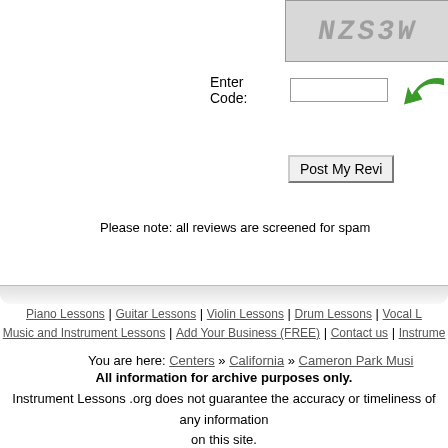[Figure (other): CAPTCHA image showing distorted text 'NZS3W']
Enter Code:
Please note: all reviews are screened for spam
You are here: Centers » California » Cameron Park Musi
Piano Lessons | Guitar Lessons | Violin Lessons | Drum Lessons | Vocal L | Music and Instrument Lessons | Add Your Business (FREE) | Contact us | Instrume
All information for archive purposes only.
Instrument Lessons .org does not guarantee the accuracy or timeliness of any information on this site.
Use at your own risk.